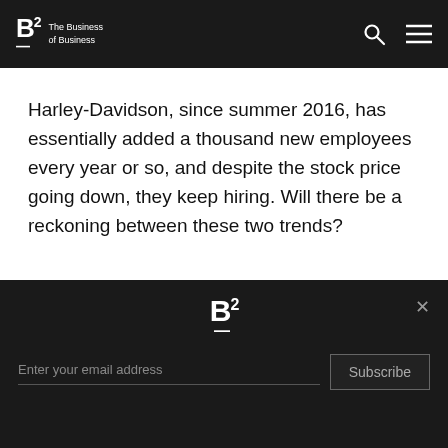B2 The Business of Business
Harley-Davidson, since summer 2016, has essentially added a thousand new employees every year or so, and despite the stock price going down, they keep hiring. Will there be a reckoning between these two trends?
[Figure (logo): B2 logo in white on dark footer background]
Enter your email address
Subscribe